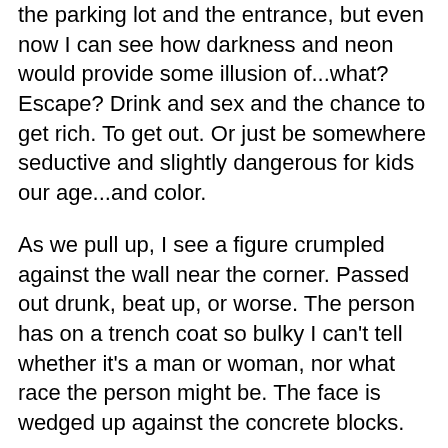the parking lot and the entrance, but even now I can see how darkness and neon would provide some illusion of...what? Escape? Drink and sex and the chance to get rich. To get out. Or just be somewhere seductive and slightly dangerous for kids our age...and color.
As we pull up, I see a figure crumpled against the wall near the corner. Passed out drunk, beat up, or worse. The person has on a trench coat so bulky I can't tell whether it's a man or woman, nor what race the person might be. The face is wedged up against the concrete blocks.
“Are they even open?” I ask. Four or five other cars sit in the lot.
“It’s always open. Wouldn’t want to let down